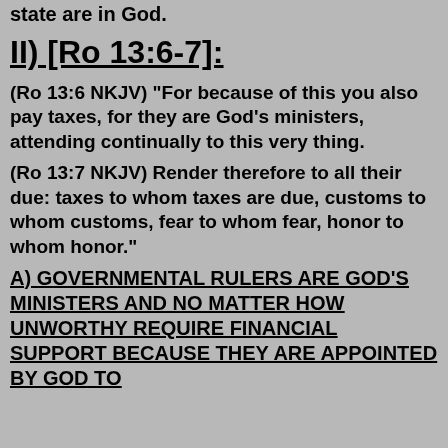state are in God.
II) [Ro 13:6-7]:
(Ro 13:6 NKJV) "For because of this you also pay taxes, for they are God's ministers, attending continually to this very thing.
(Ro 13:7 NKJV) Render therefore to all their due: taxes to whom taxes are due, customs to whom customs, fear to whom fear, honor to whom honor."
A) GOVERNMENTAL RULERS ARE GOD'S MINISTERS AND NO MATTER HOW UNWORTHY REQUIRE FINANCIAL SUPPORT BECAUSE THEY ARE APPOINTED BY GOD TO